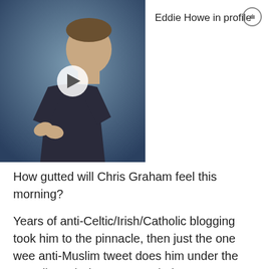[Figure (photo): Video thumbnail showing a man in a dark jacket clapping, with a play button overlay. Video titled 'Eddie Howe in profile'.]
How gutted will Chris Graham feel this morning?
Years of anti-Celtic/Irish/Catholic blogging took him to the pinnacle, then just the one wee anti-Muslim tweet does him under the waterline, oh dear, never mind.
TOM MCLAUGHLIN on 12TH MARCH 2015 6:51 AM
So new Huns director in hot water over racist, homophobic, Islamophobic